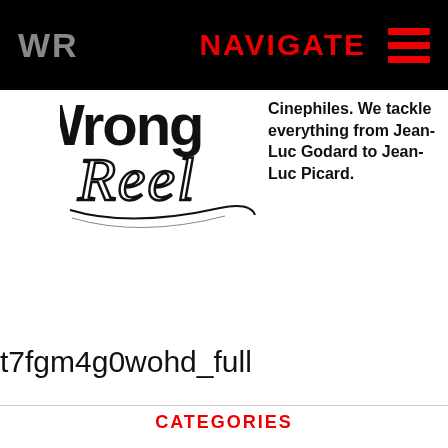WR   NAVIGATE
[Figure (logo): Wrong Reel logo in black and white cursive/script style]
Cinephiles. We tackle everything from Jean-Luc Godard to Jean-Luc Picard.
t7fgm4g0wohd_full
CATEGORIES